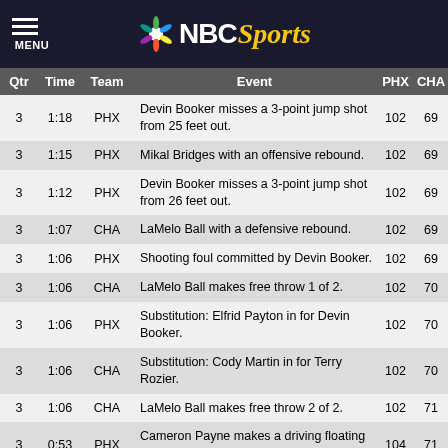MENU | NBC Sports
| Qtr | Time | Team | Event | PHX | CHA |
| --- | --- | --- | --- | --- | --- |
| 3 | 1:18 | PHX | Devin Booker misses a 3-point jump shot from 25 feet out. | 102 | 69 |
| 3 | 1:15 | PHX | Mikal Bridges with an offensive rebound. | 102 | 69 |
| 3 | 1:12 | PHX | Devin Booker misses a 3-point jump shot from 26 feet out. | 102 | 69 |
| 3 | 1:07 | CHA | LaMelo Ball with a defensive rebound. | 102 | 69 |
| 3 | 1:06 | PHX | Shooting foul committed by Devin Booker. | 102 | 69 |
| 3 | 1:06 | CHA | LaMelo Ball makes free throw 1 of 2. | 102 | 70 |
| 3 | 1:06 | PHX | Substitution: Elfrid Payton in for Devin Booker. | 102 | 70 |
| 3 | 1:06 | CHA | Substitution: Cody Martin in for Terry Rozier. | 102 | 70 |
| 3 | 1:06 | CHA | LaMelo Ball makes free throw 2 of 2. | 102 | 71 |
| 3 | 0:53 | PHX | Cameron Payne makes a driving floating bank jump shot from 10 feet out. | 104 | 71 |
| 3 | 0:39 | CHA | Elfrid Payton steals the ball from Kelly Oubre Jr.. | 104 | 71 |